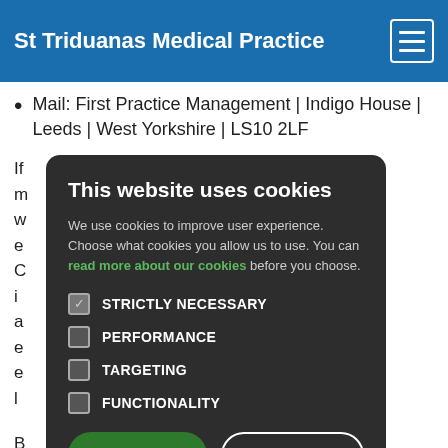St Triduanas Medical Practice
Mail: First Practice Management | Indigo House | Leeds | West Yorkshire | LS10 2LF
If you have complaints may the information we your rights, we e C x. We will i ts and disputes a r your wish to e and in any e ta protection l
[Figure (screenshot): Cookie consent modal dialog with title 'This website uses cookies', description text with link 'read more about our cookies', checkboxes for STRICTLY NECESSARY (checked), PERFORMANCE, TARGETING, FUNCTIONALITY, and two buttons: ACCEPT ALL and DECLINE ALL]
B oplaint with t uthority (i.e. y ork or place of alleged infringement). We ask that you please attempt to